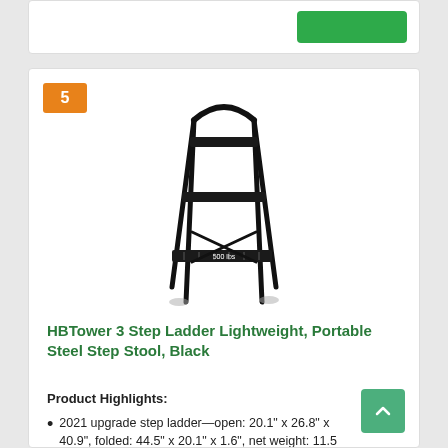[Figure (screenshot): Top portion of a product listing card with a green button]
[Figure (photo): Black 3-step steel ladder/step stool product photo on white background]
HBTower 3 Step Ladder Lightweight, Portable Steel Step Stool, Black
Product Highlights:
2021 upgrade step ladder—open: 20.1" x 26.8" x 40.9", folded: 44.5" x 20.1" x 1.6", net weight: 11.5 pounds, maximum load: 500 pounds. hbtower safety folding 3 step steel ladder is